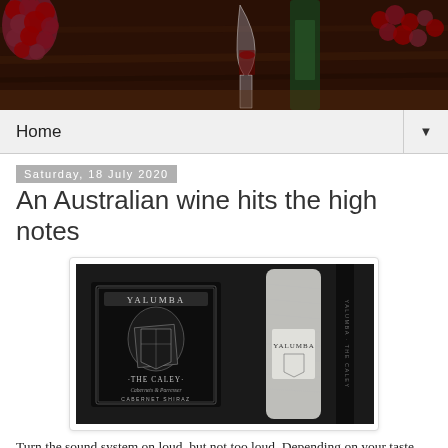[Figure (photo): Header photo showing grapes, wine glass, and wine bottle on a wooden surface]
Home ▼
Saturday, 18 July 2020
An Australian wine hits the high notes
[Figure (photo): Yalumba 'The Caley' Cabernet Shiraz wine bottle and box packaging on dark background]
Turn the sound system on loud, but not too loud. Depending on your taste put on a Saint-Saëns piano concerto, or perhaps the Righteous Brothers doing a Phil Spector wall of